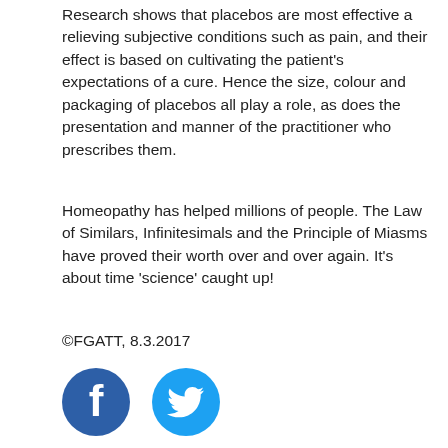Research shows that placebos are most effective a relieving subjective conditions such as pain, and their effect is based on cultivating the patient's expectations of a cure. Hence the size, colour and packaging of placebos all play a role, as does the presentation and manner of the practitioner who prescribes them.
Homeopathy has helped millions of people. The Law of Similars, Infinitesimals and the Principle of Miasms have proved their worth over and over again. It's about time 'science' caught up!
©FGATT, 8.3.2017
[Figure (illustration): Facebook and Twitter social media icons side by side]